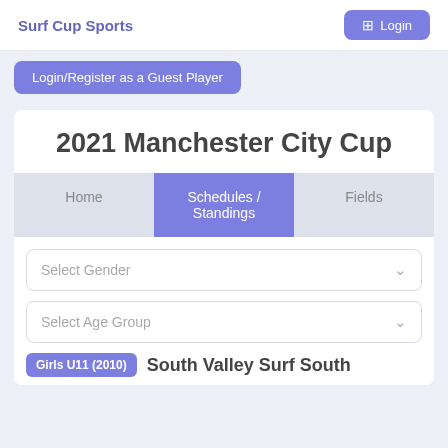Surf Cup Sports
Login
Login/Register as a Guest Player
2021 Manchester City Cup
Home
Schedules / Standings
Fields
Select Gender
Select Age Group
Girls U11 (2010)  South Valley Surf South